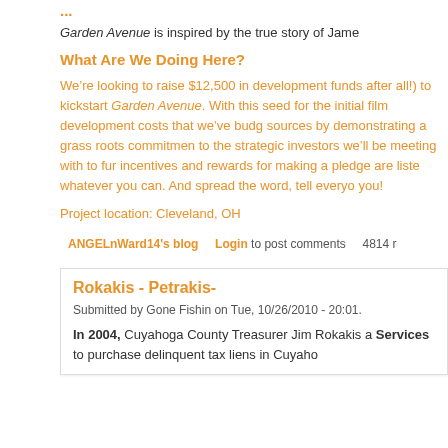...
Garden Avenue is inspired by the true story of Jame
What Are We Doing Here?
We’re looking to raise $12,500 in development funds after all!) to kickstart Garden Avenue. With this seed for the initial film development costs that we’ve budg sources by demonstrating a grass roots commitment to the strategic investors we’ll be meeting with to fur incentives and rewards for making a pledge are liste whatever you can. And spread the word, tell everyo you!
Project location: Cleveland, OH
ANGELnWard14's blog    Login to post comments    4814 r
Rokakis - Petrakis-
Submitted by Gone Fishin on Tue, 10/26/2010 - 20:01.
In 2004, Cuyahoga County Treasurer Jim Rokakis a Services to purchase delinquent tax liens in Cuyaho